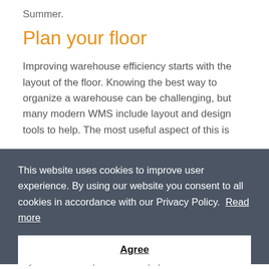Summer.
Plan your floor
Improving warehouse efficiency starts with the layout of the floor. Knowing the best way to organize a warehouse can be challenging, but many modern WMS include layout and design tools to help. The most useful aspect of this is
[Figure (other): Cookie consent overlay with text: 'This website uses cookies to improve user experience. By using our website you consent to all cookies in accordance with our Privacy Policy. Read more' and an Agree button.]
1. Every product location is easily accessible by the relevant person or equipment. You